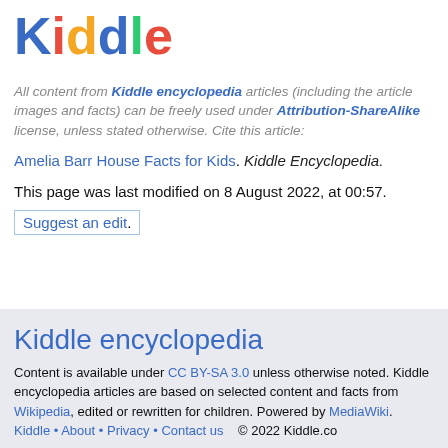[Figure (logo): Kiddle logo in multicolor letters: K(blue), i(red), d(yellow), d(blue), l(green), e(red)]
All content from Kiddle encyclopedia articles (including the article images and facts) can be freely used under Attribution-ShareAlike license, unless stated otherwise. Cite this article:
Amelia Barr House Facts for Kids. Kiddle Encyclopedia.
This page was last modified on 8 August 2022, at 00:57.
Suggest an edit.
Kiddle encyclopedia
Content is available under CC BY-SA 3.0 unless otherwise noted. Kiddle encyclopedia articles are based on selected content and facts from Wikipedia, edited or rewritten for children. Powered by MediaWiki.
Kiddle • About • Privacy • Contact us   © 2022 Kiddle.co